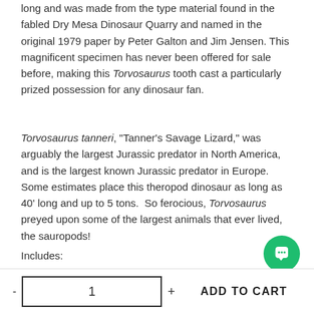long and was made from the type material found in the fabled Dry Mesa Dinosaur Quarry and named in the original 1979 paper by Peter Galton and Jim Jensen. This magnificent specimen has never been offered for sale before, making this Torvosaurus tooth cast a particularly prized possession for any dinosaur fan.
Torvosaurus tanneri, "Tanner's Savage Lizard," was arguably the largest Jurassic predator in North America, and is the largest known Jurassic predator in Europe. Some estimates place this theropod dinosaur as long as 40' long and up to 5 tons. So ferocious, Torvosaurus preyed upon some of the largest animals that ever lived, the sauropods!
Includes:
[Figure (other): Green circular chat button with speech bubble icon]
- 1 + ADD TO CART